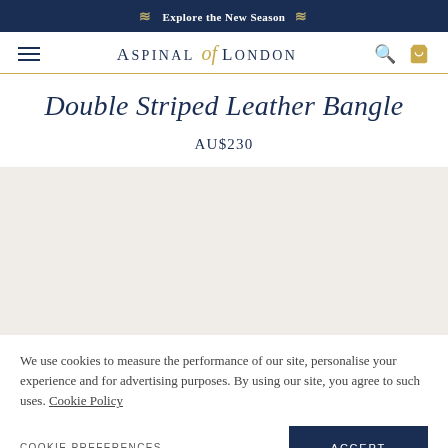Explore the New Season
Aspinal of London
Double Striped Leather Bangle
AU$230
[Figure (photo): Light gray/beige placeholder image area for product photo]
We use cookies to measure the performance of our site, personalise your experience and for advertising purposes. By using our site, you agree to such uses. Cookie Policy
COOKIE PREFERENCES
ACCEPT